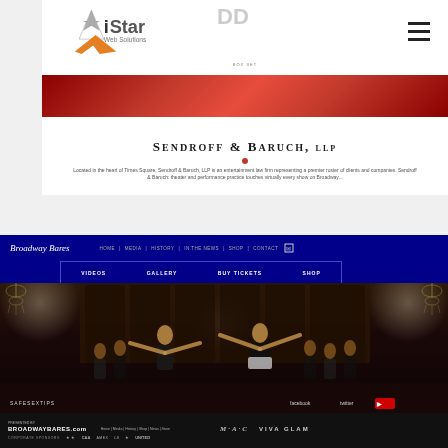[Figure (screenshot): Screenshot of iStar Web Solutions website showing the Sendroff & Baruch, LLP law firm website with logo, red banner, and firm description]
[Figure (screenshot): Screenshot of BroadwayBares.com website showing navigation menu with VIDEOS, GALLERY, BUY TICKETS, SHOP, and a performance photo with dancers on stage. Footer shows BROADWAYBARES.com, MAC VIVA GLAM sponsorship, and partner logos.]